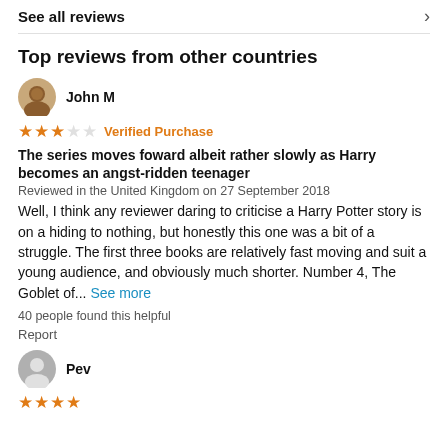See all reviews
Top reviews from other countries
John M
★★★☆☆ Verified Purchase
The series moves foward albeit rather slowly as Harry becomes an angst-ridden teenager
Reviewed in the United Kingdom on 27 September 2018
Well, I think any reviewer daring to criticise a Harry Potter story is on a hiding to nothing, but honestly this one was a bit of a struggle. The first three books are relatively fast moving and suit a young audience, and obviously much shorter. Number 4, The Goblet of... See more
40 people found this helpful
Report
Pev